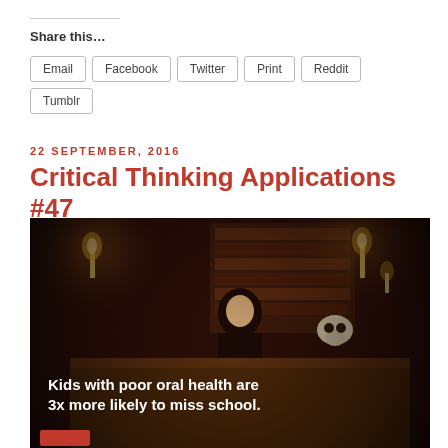Share this...
Email
Facebook
Twitter
Print
Reddit
Tumblr
22 SEPTEMBER, 2016
Critical Thinking Applications #47
[Figure (photo): Dark room scene with a person sitting at a desk in candlelight, with bookshelves in background. Overlaid text reads: Kids with poor oral health are 3x more likely to miss school.]